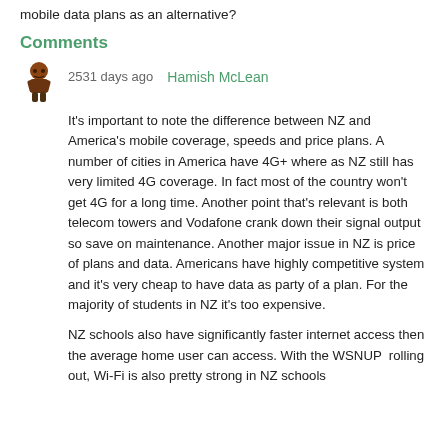mobile data plans as an alternative?
Comments
2531 days ago   Hamish McLean
It's important to note the difference between NZ and America's mobile coverage, speeds and price plans.  A number of cities in America have 4G+ where as NZ still has very limited 4G coverage. In fact most of the country won't get 4G for a long time.  Another point that's relevant is both telecom towers and Vodafone crank down their signal output so save on maintenance.  Another major issue in NZ is price of plans and data.  Americans have highly competitive system and it's very cheap to have data as party of a plan.  For the majority of students in NZ it's too expensive.
NZ schools also have significantly faster internet access then the average home user can access. With the WSNUP rolling out, Wi-Fi is also pretty strong in NZ schools